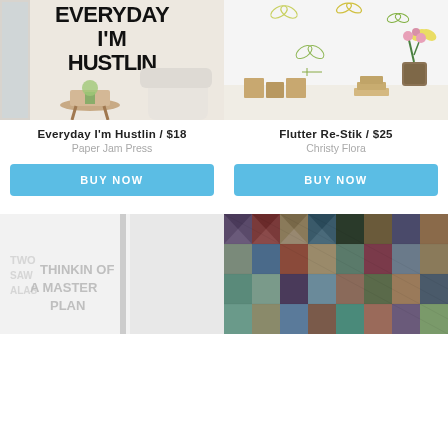[Figure (photo): Wall decal reading 'EVERYDAY I'M HUSTLIN' in bold black text on a wall, with a small side table, plant, and white chair in a room setting]
[Figure (photo): Butterfly wall stickers/decals on a white wall above a shelf with wooden block decorations and a pink plant in a basket]
Everyday I'm Hustlin / $18
Paper Jam Press
Flutter Re-Stik / $25
Christy Flora
BUY NOW
BUY NOW
[Figure (photo): Window decal with text 'THINKIN OF A MASTER PLAN' in grey letters on a glass door/window]
[Figure (photo): Geometric pattern with colorful triangles and diamonds in muted colors including teal, burgundy, brown, and navy]